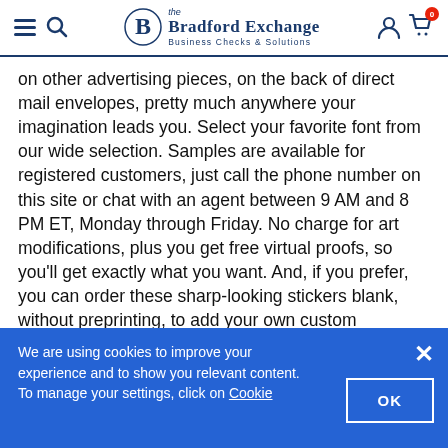The Bradford Exchange — Business Checks & Solutions
on other advertising pieces, on the back of direct mail envelopes, pretty much anywhere your imagination leads you. Select your favorite font from our wide selection. Samples are available for registered customers, just call the phone number on this site or chat with an agent between 9 AM and 8 PM ET, Monday through Friday. No charge for art modifications, plus you get free virtual proofs, so you'll get exactly what you want. And, if you prefer, you can order these sharp-looking stickers blank, without preprinting, to add your own custom message. Get this Talk Bubble Sticker 3x3 Square today to add a new dimension to your advertising efforts today.
We are using cookies to improve your experience and to show you relevant content. To manage your settings, click on Cookie